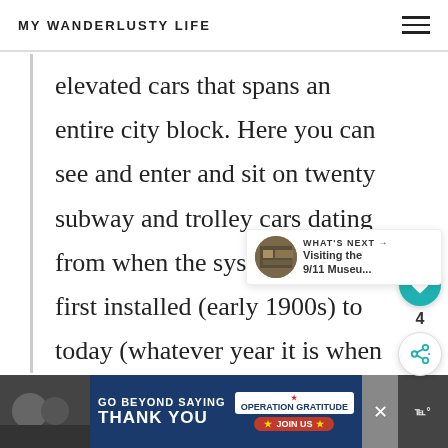MY WANDERLUSTY LIFE
elevated cars that spans an entire city block. Here you can see and enter and sit on twenty subway and trolley cars dating from when the systems were first installed (early 1900s) to today (whatever year it is when you read this). We have now entered the time
[Figure (other): Heart/like button widget (teal circle with heart icon) with count of 4, and a share button below]
[Figure (other): What's Next widget showing a thumbnail and text: Visiting the 9/11 Museu...]
[Figure (other): Advertisement banner: GO BEYOND SAYING THANK YOU — Operation Gratitude JOIN US]